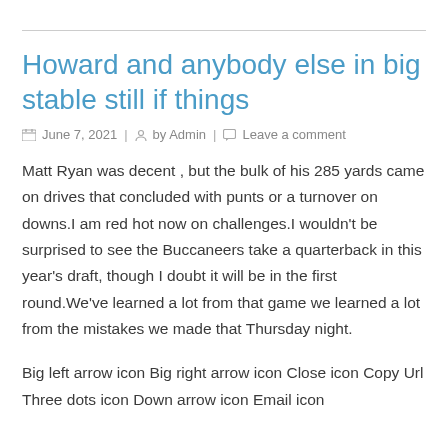Howard and anybody else in big stable still if things
June 7, 2021 | by Admin | Leave a comment
Matt Ryan was decent , but the bulk of his 285 yards came on drives that concluded with punts or a turnover on downs.I am red hot now on challenges.I wouldn't be surprised to see the Buccaneers take a quarterback in this year's draft, though I doubt it will be in the first round.We've learned a lot from that game we learned a lot from the mistakes we made that Thursday night.
Big left arrow icon Big right arrow icon Close icon Copy Url Three dots icon Down arrow icon Email icon